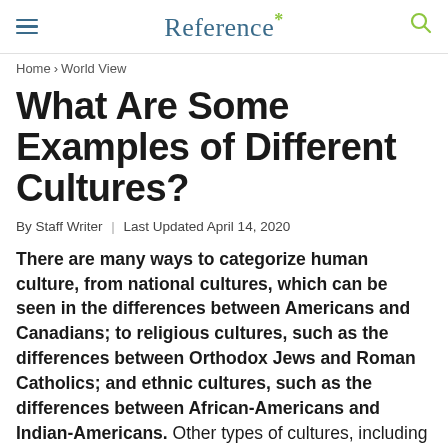Reference*
Home › World View
What Are Some Examples of Different Cultures?
By Staff Writer | Last Updated April 14, 2020
There are many ways to categorize human culture, from national cultures, which can be seen in the differences between Americans and Canadians; to religious cultures, such as the differences between Orthodox Jews and Roman Catholics; and ethnic cultures, such as the differences between African-Americans and Indian-Americans. Other types of cultures, including cultures and cultures and